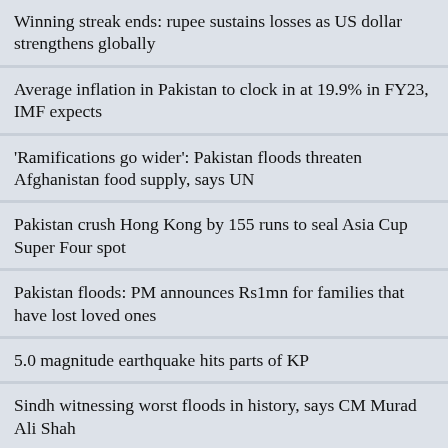Winning streak ends: rupee sustains losses as US dollar strengthens globally
Average inflation in Pakistan to clock in at 19.9% in FY23, IMF expects
'Ramifications go wider': Pakistan floods threaten Afghanistan food supply, says UN
Pakistan crush Hong Kong by 155 runs to seal Asia Cup Super Four spot
Pakistan floods: PM announces Rs1mn for families that have lost loved ones
5.0 magnitude earthquake hits parts of KP
Sindh witnessing worst floods in history, says CM Murad Ali Shah
KSE-100 falls 0.36% as investors panic over high inflation reading